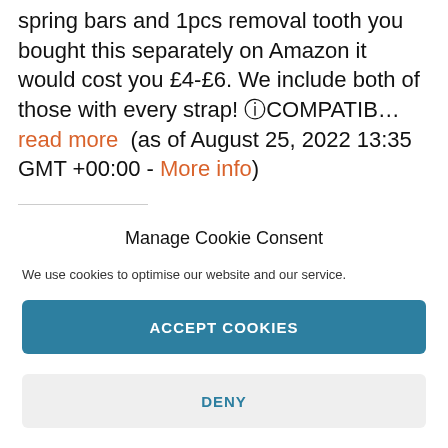spring bars and 1pcs removal tooth you bought this separately on Amazon it would cost you £4-£6. We include both of those with every strap! ⓘCOMPATIB… read more (as of August 25, 2022 13:35 GMT +00:00 - More info)
Manage Cookie Consent
We use cookies to optimise our website and our service.
ACCEPT COOKIES
DENY
VIEW PREFERENCES